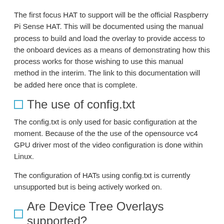The first focus HAT to support will be the official Raspberry Pi Sense HAT. This will be documented using the manual process to build and load the overlay to provide access to the onboard devices as a means of demonstrating how this process works for those wishing to use this manual method in the interim. The link to this documentation will be added here once that is complete.
The use of config.txt
The config.txt is only used for basic configuration at the moment. Because of the the use of the opensource vc4 GPU driver most of the video configuration is done within Linux.
The configuration of HATs using config.txt is currently unsupported but is being actively worked on.
Are Device Tree Overlays supported?
There's basic support for overlays in u-boot and the linux kernel but an overlay manager isn't yet upstream.